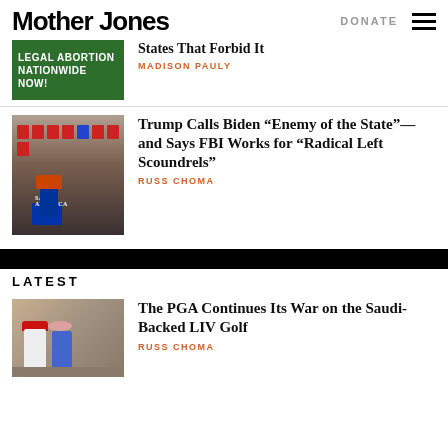Mother Jones | DONATE
[Figure (photo): Protest sign reading LEGAL ABORTION NATIONWIDE NOW! on green banner]
States That Forbid It
MADISON PAULY
[Figure (photo): Trump speaking at Save America rally with crowd holding red signs]
Trump Calls Biden “Enemy of the State”—and Says FBI Works for “Radical Left Scoundrels”
RUSS CHOMA
LATEST
[Figure (photo): Trump in red hat waving alongside a woman in blue dress]
The PGA Continues Its War on the Saudi-Backed LIV Golf
RUSS CHOMA